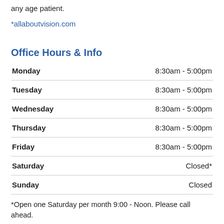any age patient.
*allaboutvision.com
Office Hours & Info
| Day | Hours |
| --- | --- |
| Monday | 8:30am - 5:00pm |
| Tuesday | 8:30am - 5:00pm |
| Wednesday | 8:30am - 5:00pm |
| Thursday | 8:30am - 5:00pm |
| Friday | 8:30am - 5:00pm |
| Saturday | Closed* |
| Sunday | Closed |
*Open one Saturday per month 9:00 - Noon. Please call ahead.
📞 641-236-4002